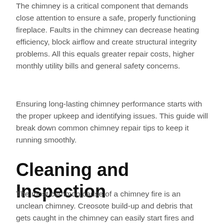The chimney is a critical component that demands close attention to ensure a safe, properly functioning fireplace. Faults in the chimney can decrease heating efficiency, block airflow and create structural integrity problems. All this equals greater repair costs, higher monthly utility bills and general safety concerns.
Ensuring long-lasting chimney performance starts with the proper upkeep and identifying issues. This guide will break down common chimney repair tips to keep it running smoothly.
Cleaning and Inspection
The most common cause of a chimney fire is an unclean chimney. Creosote build-up and debris that gets caught in the chimney can easily start fires and block the air passage. That can send toxic gases and smoke back into the home. If cracks